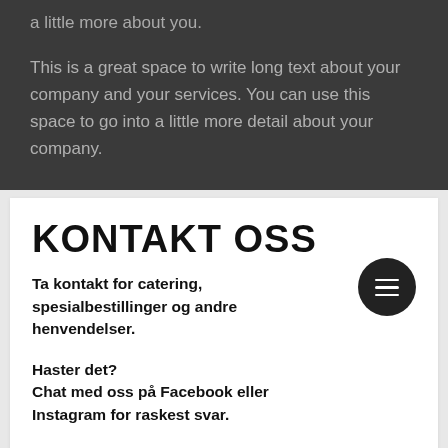a little more about you.
This is a great space to write long text about your company and your services. You can use this space to go into a little more detail about your company.
KONTAKT OSS
Ta kontakt for catering, spesialbestillinger og andre henvendelser.
Haster det?
Chat med oss på Facebook eller Instagram for raskest svar.
[Figure (illustration): Instagram and Facebook social media icons in gray]
Fornaun